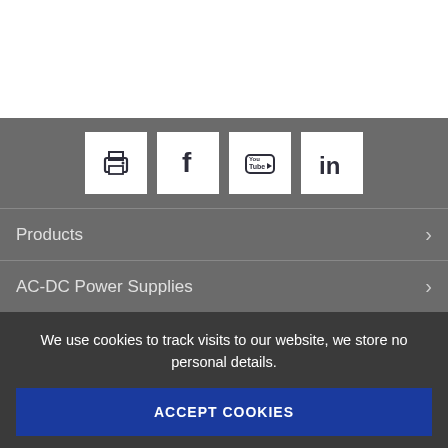[Figure (screenshot): White top area of a webpage]
[Figure (infographic): Row of four social/share icon buttons: print, Facebook, YouTube, LinkedIn on gray background]
Products
AC-DC Power Supplies
We use cookies to track visits to our website, we store no personal details.
ACCEPT COOKIES
DECLINE COOKIES
Cookie Policy